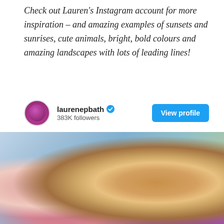Check out Lauren's Instagram account for more inspiration – and amazing examples of sunsets and sunrises, cute animals, bright, bold colours and amazing landscapes with lots of leading lines!
[Figure (screenshot): Instagram profile snippet showing laurenepbath with verified badge, 383K followers, and a View profile button]
[Figure (photo): Close-up photo of a baby kangaroo joey being held, with a smiling person partially visible on the left. The joey is tan/beige colored with large ears and is wrapped in a purple/magenta fluffy cloth. Background is blurred teal and warm tones.]